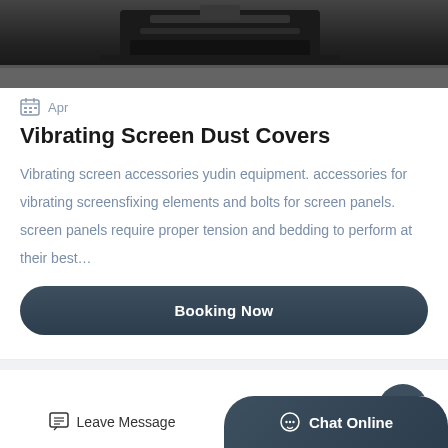[Figure (photo): Dark industrial equipment (appears to be a vibrating screen or similar machinery) photographed on a concrete floor, partial view cropped at top]
Apr
Vibrating Screen Dust Covers
Vibrating screen accessories yudin equipment. accessories for vibrating screensfixing elements and bolts for screen panels. screen panels require proper tension and bedding to perform at their best…
Booking Now
Relate Product
Leave Message
Chat Online